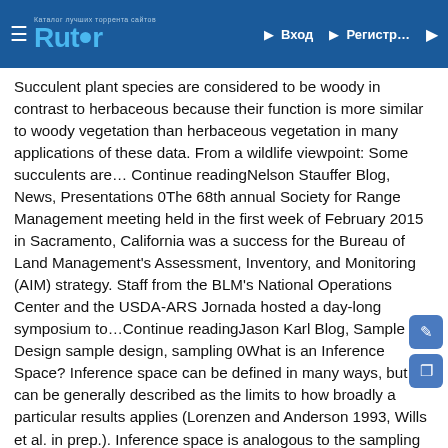Rutor — Вход — Регистр…
Succulent plant species are considered to be woody in contrast to herbaceous because their function is more similar to woody vegetation than herbaceous vegetation in many applications of these data. From a wildlife viewpoint: Some succulents are… Continue readingNelson Stauffer Blog, News, Presentations 0The 68th annual Society for Range Management meeting held in the first week of February 2015 in Sacramento, California was a success for the Bureau of Land Management's Assessment, Inventory, and Monitoring (AIM) strategy. Staff from the BLM's National Operations Center and the USDA-ARS Jornada hosted a day-long symposium to…Continue readingJason Karl Blog, Sample Design sample design, sampling 0What is an Inference Space? Inference space can be defined in many ways, but can be generally described as the limits to how broadly a particular results applies (Lorenzen and Anderson 1993, Wills et al. in prep.). Inference space is analogous to the sampling universe or the population. All these…Continue readingNelson Stauffer Blog, Monitoring Tools & Databases, News 0A new version of the Database for Inventory, Monitoring, and Assessment has